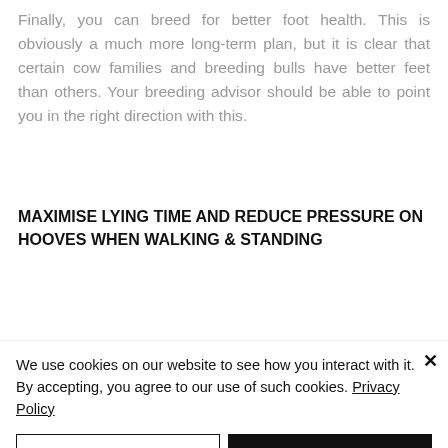Finally, you can breed for better foot health. This is obviously a much more long-term plan, but it is clear that certain cow families and breeding bulls have better feet than others. Your breeding advisor should be able to point you in the right direction with this.
MAXIMISE LYING TIME AND REDUCE PRESSURE ON HOOVES WHEN WALKING & STANDING
We use cookies on our website to see how you interact with it. By accepting, you agree to our use of such cookies. Privacy Policy
Decline All
Accept
Settings